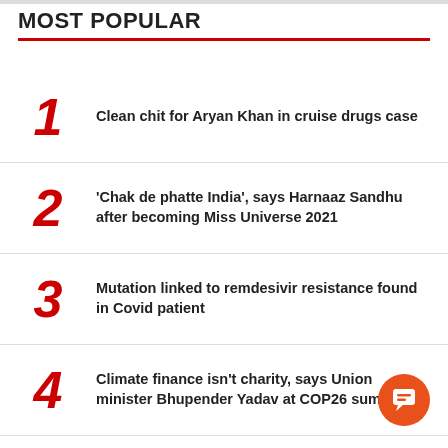MOST POPULAR
1. Clean chit for Aryan Khan in cruise drugs case
2. 'Chak de phatte India', says Harnaaz Sandhu after becoming Miss Universe 2021
3. Mutation linked to remdesivir resistance found in Covid patient
4. Climate finance isn't charity, says Union minister Bhupender Yadav at COP26 summit
5. Indian origin astronaut-led NASA SpaceX Crew-3 team headed to ISS